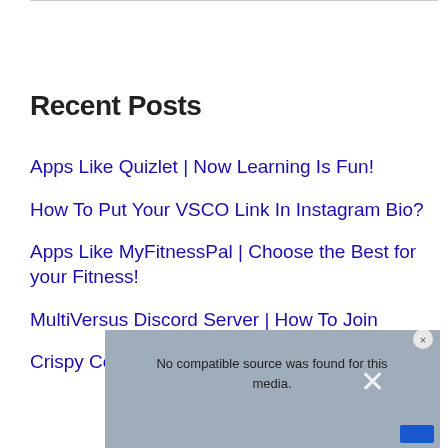Recent Posts
Apps Like Quizlet | Now Learning Is Fun!
How To Put Your VSCO Link In Instagram Bio?
Apps Like MyFitnessPal | Choose the Best for your Fitness!
MultiVersus Discord Server | How To Join
Crispy Concords Discord | How To Join
[Figure (screenshot): Video player overlay showing 'No compatible source was found for this media.' message with a close button and X icon]